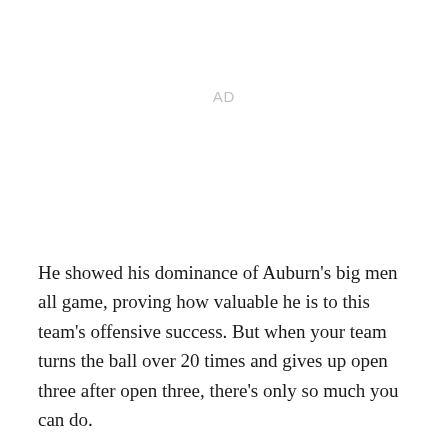AD
He showed his dominance of Auburn's big men all game, proving how valuable he is to this team's offensive success. But when your team turns the ball over 20 times and gives up open three after open three, there's only so much you can do.
Tilmon and Missouri look to turn things around when they return home Saturday to take on Vanderbilt.